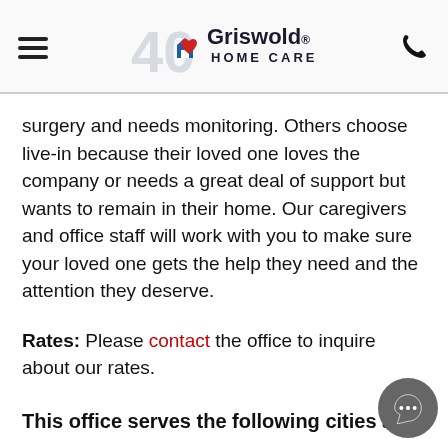Griswold Home Care
surgery and needs monitoring. Others choose live-in because their loved one loves the company or needs a great deal of support but wants to remain in their home. Our caregivers and office staff will work with you to make sure your loved one gets the help they need and the attention they deserve.
Rates: Please contact the office to inquire about our rates.
This office serves the following cities and